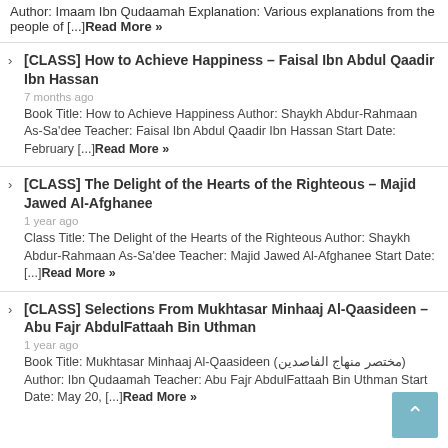Author: Imaam Ibn Qudaamah Explanation: Various explanations from the people of [...]Read More »
[CLASS] How to Achieve Happiness – Faisal Ibn Abdul Qaadir Ibn Hassan
7 months ago
Book Title: How to Achieve Happiness Author: Shaykh Abdur-Rahmaan As-Sa'dee Teacher: Faisal Ibn Abdul Qaadir Ibn Hassan Start Date: February [...]Read More »
[CLASS] The Delight of the Hearts of the Righteous – Majid Jawed Al-Afghanee
1 year ago
Class Title: The Delight of the Hearts of the Righteous Author: Shaykh Abdur-Rahmaan As-Sa'dee Teacher: Majid Jawed Al-Afghanee Start Date: [...]Read More »
[CLASS] Selections From Mukhtasar Minhaaj Al-Qaasideen – Abu Fajr AbdulFattaah Bin Uthman
1 year ago
Book Title: Mukhtasar Minhaaj Al-Qaasideen (مختصر منهاج الفاصدين) Author: Ibn Qudaamah Teacher: Abu Fajr AbdulFattaah Bin Uthman Start Date: May 20, [...]Read More »